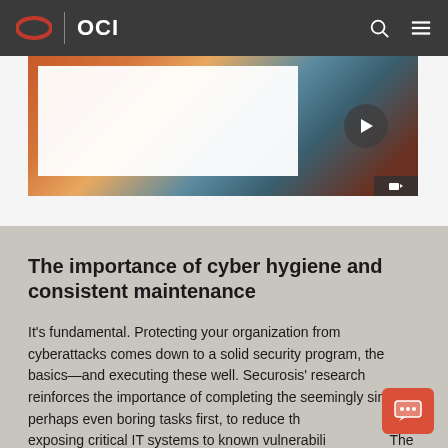OCI
[Figure (screenshot): Video thumbnail showing a webcast with colorful abstract/artistic background and a white content area, with a play button overlay]
Watch the webcast (19:48)
The importance of cyber hygiene and consistent maintenance
It's fundamental. Protecting your organization from cyberattacks comes down to a solid security program, the basics—and executing these well. Securosis' research reinforces the importance of completing the seemingly simple, perhaps even boring tasks first, to reduce the risk of exposing critical IT systems to known vulnerabilities. The report covers strategies to ensure visibility of IT